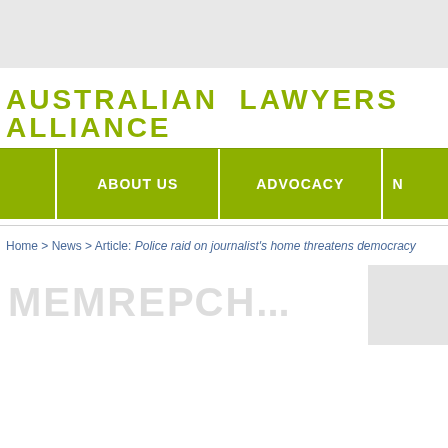AUSTRALIAN LAWYERS ALLIANCE
ABOUT US | ADVOCACY | N...
Home > News > Article: Police raid on journalist's home threatens democracy
[Figure (screenshot): Partially visible membership section with watermark-style text 'MEMBERSHIP' and a gray box on the right]